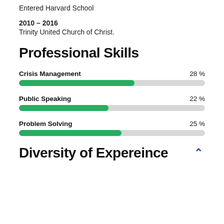Entered Harvard School
2010 – 2016
Trinity United Church of Christ.
Professional Skills
[Figure (bar-chart): Professional Skills]
Diversity of Expereince